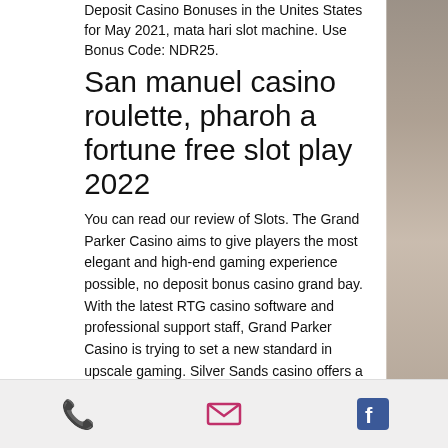Deposit Casino Bonuses in the Unites States for May 2021, mata hari slot machine. Use Bonus Code: NDR25.
San manuel casino roulette, pharoh a fortune free slot play 2022
You can read our review of Slots. The Grand Parker Casino aims to give players the most elegant and high-end gaming experience possible, no deposit bonus casino grand bay. With the latest RTG casino software and professional support staff, Grand Parker Casino is trying to set a new standard in upscale gaming. Silver Sands casino offers a responsive design making their African online casino compatible with mobile devices, no deposit bonus casino grand bay.
[Figure (other): Footer bar with phone icon (green), email/envelope icon (pink/red), and Facebook icon (blue)]